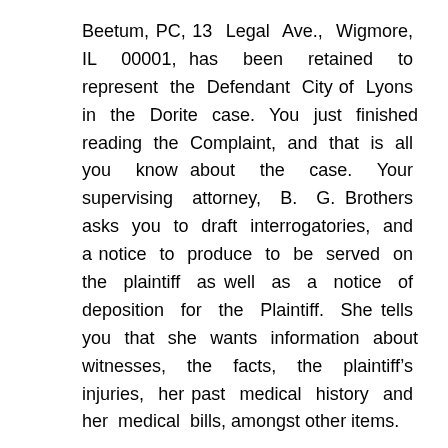Beetum, PC, 13 Legal Ave., Wigmore, IL 00001, has been retained to represent the Defendant City of Lyons in the Dorite case. You just finished reading the Complaint, and that is all you know about the case. Your supervising attorney, B. G. Brothers asks you to draft interrogatories, and a notice to produce to be served on the plaintiff as well as a notice of deposition for the Plaintiff. She tells you that she wants information about witnesses, the facts, the plaintiff's injuries, her past medical history and her medical bills, amongst other items.
She reminds you that the Plaintiff has to provide facts to establish each allegation of her Complaint. She further reminds you that the